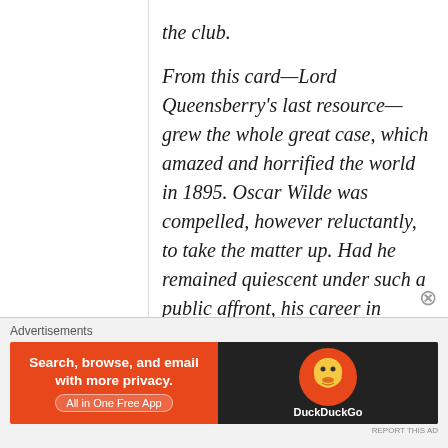the club.
From this card—Lord Queensberry's last resource—grew the whole great case, which amazed and horrified the world in 1895. Oscar Wilde was compelled, however reluctantly, to take the matter up. Had he remained quiescent under such a public affront, his career in England would have been at an end. He bowed to the inevitable and a libel action was prepared.
Advertisements